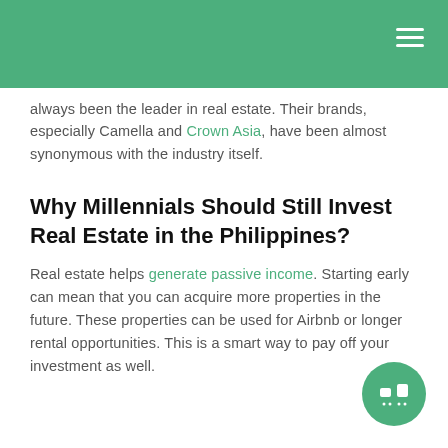always been the leader in real estate. Their brands, especially Camella and Crown Asia, have been almost synonymous with the industry itself.
Why Millennials Should Still Invest Real Estate in the Philippines?
Real estate helps generate passive income. Starting early can mean that you can acquire more properties in the future. These properties can be used for Airbnb or longer rental opportunities. This is a smart way to pay off your investment as well.